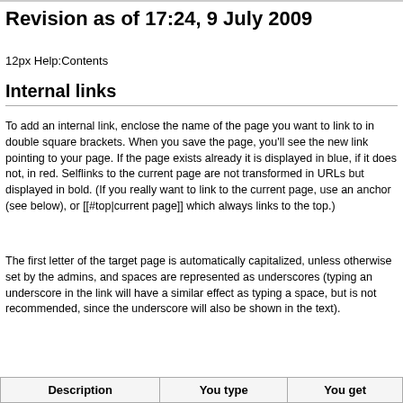Revision as of 17:24, 9 July 2009
12px Help:Contents
Internal links
To add an internal link, enclose the name of the page you want to link to in double square brackets. When you save the page, you'll see the new link pointing to your page. If the page exists already it is displayed in blue, if it does not, in red. Selflinks to the current page are not transformed in URLs but displayed in bold. (If you really want to link to the current page, use an anchor (see below), or [[#top|current page]] which always links to the top.)
The first letter of the target page is automatically capitalized, unless otherwise set by the admins, and spaces are represented as underscores (typing an underscore in the link will have a similar effect as typing a space, but is not recommended, since the underscore will also be shown in the text).
| Description | You type | You get |
| --- | --- | --- |